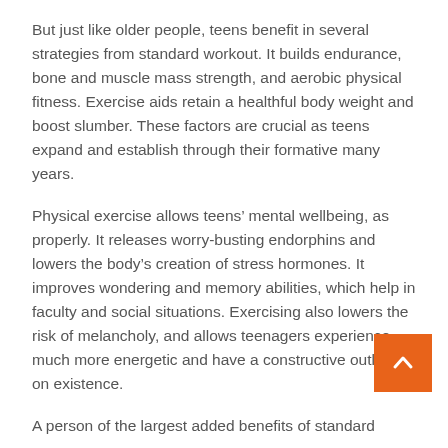But just like older people, teens benefit in several strategies from standard workout. It builds endurance, bone and muscle mass strength, and aerobic physical fitness. Exercise aids retain a healthful body weight and boost slumber. These factors are crucial as teens expand and establish through their formative many years.
Physical exercise allows teens’ mental wellbeing, as properly. It releases worry-busting endorphins and lowers the body’s creation of stress hormones. It improves wondering and memory abilities, which help in faculty and social situations. Exercising also lowers the risk of melancholy, and allows teenagers experience much more energetic and have a constructive outlook on existence.
A person of the largest added benefits of standard